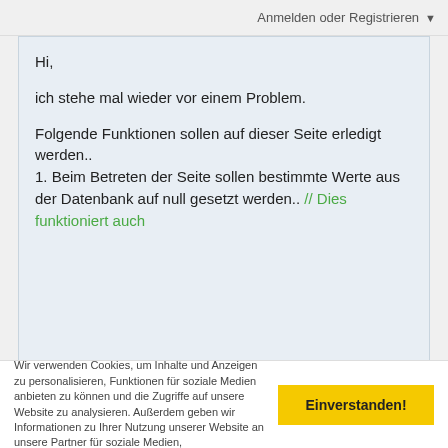Anmelden oder Registrieren ▼
Hi,

ich stehe mal wieder vor einem Problem.

Folgende Funktionen sollen auf dieser Seite erledigt werden..
1. Beim Betreten der Seite sollen bestimmte Werte aus der Datenbank auf null gesetzt werden.. // Dies funktioniert auch
Wir verwenden Cookies, um Inhalte und Anzeigen zu personalisieren, Funktionen für soziale Medien anbieten zu können und die Zugriffe auf unsere Website zu analysieren. Außerdem geben wir Informationen zu Ihrer Nutzung unserer Website an unsere Partner für soziale Medien,
Einverstanden!